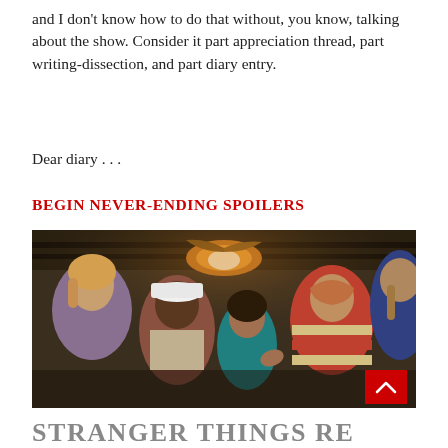and I don't know how to do that without, you know, talking about the show. Consider it part appreciation thread, part writing-dissection, and part diary entry.
Dear diary . . .
BEGIN NEVER-ENDING SPOILERS
[Figure (photo): Scene from Stranger Things showing a group of teenagers in a dimly lit room with a ceiling fan/light fixture. Characters include a girl in a purple shirt, a boy in a striped red and white shirt with a cap, a boy in a teal shirt, a boy in a red-yellow striped shirt, and another character partially visible on the right.]
STRANGER THINGS REWATCH